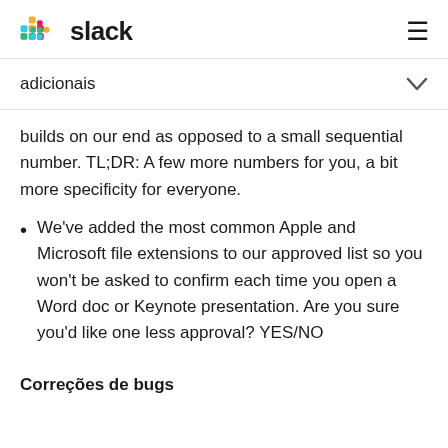slack
adicionais
builds on our end as opposed to a small sequential number. TL;DR: A few more numbers for you, a bit more specificity for everyone.
We've added the most common Apple and Microsoft file extensions to our approved list so you won't be asked to confirm each time you open a Word doc or Keynote presentation. Are you sure you'd like one less approval? YES/NO
Correções de bugs